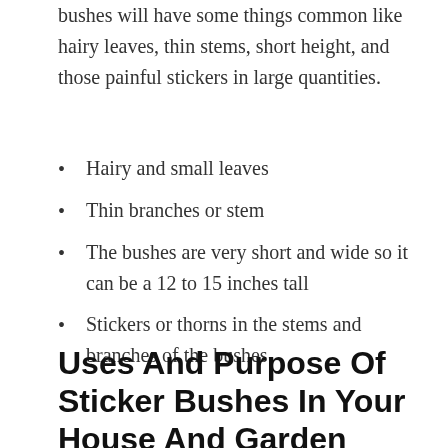bushes will have some things common like hairy leaves, thin stems, short height, and those painful stickers in large quantities.
Hairy and small leaves
Thin branches or stem
The bushes are very short and wide so it can be a 12 to 15 inches tall
Stickers or thorns in the stems and branches of the bushes
Uses And Purpose Of Sticker Bushes In Your House And Garden